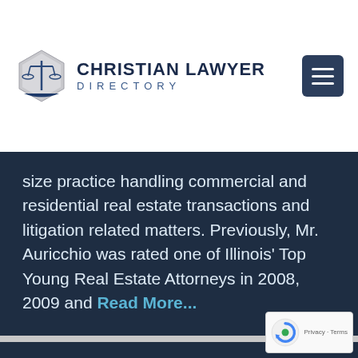[Figure (logo): Christian Lawyer Directory logo with scales of justice icon and text]
size practice handling commercial and residential real estate transactions and litigation related matters. Previously, Mr. Auricchio was rated one of Illinois' Top Young Real Estate Attorneys in 2008, 2009 and Read More...